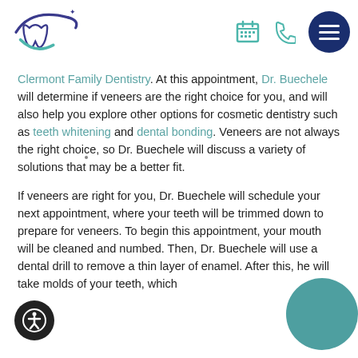[Figure (logo): Clermont Family Dentistry logo with stylized tooth and swoosh, plus calendar, phone, and hamburger menu icons in header]
Clermont Family Dentistry. At this appointment, Dr. Buechele will determine if veneers are the right choice for you, and will also help you explore other options for cosmetic dentistry such as teeth whitening and dental bonding. Veneers are not always the right choice, so Dr. Buechele will discuss a variety of solutions that may be a better fit.
If veneers are right for you, Dr. Buechele will schedule your next appointment, where your teeth will be trimmed down to prepare for veneers. To begin this appointment, your mouth will be cleaned and numbed. Then, Dr. Buechele will use a dental drill to remove a thin layer of enamel. After this, he will take molds of your teeth, which will be sent to...